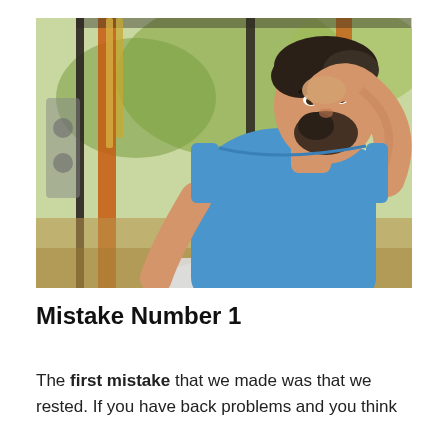[Figure (photo): A muscular bearded man in a blue sleeveless shirt leaning forward at an outdoor gym, pressing his hand to his forehead in a distressed or exhausted posture. Blurred orange and green playground equipment in the background.]
Mistake Number 1
The first mistake that we made was that we rested. If you have back problems and you think